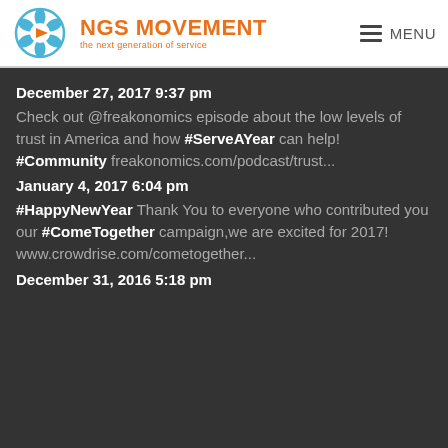[Figure (logo): NGS Movement logo with orange flower/compass icon and text 'NGS MOVEMENT - the next generation of service']
MENU
December 27, 2017 9:37 pm
Check out @freakonomics episode about the low levels of trust in America and how #ServeAYear can help! #Community freakonomics.com/podcast/trust...
January 4, 2017 6:04 pm
#HappyNewYear Thank You to everyone who contributed you our #ComeTogether campaign,we are excited for 2017! www.crowdrise.com/cometogether...
December 31, 2016 5:18 pm